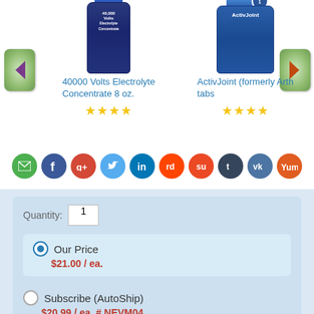[Figure (screenshot): Product carousel showing two supplement products: '40000 Volts Electrolyte Concentrate 8 oz.' with 4 stars and 'ActivJoint (formerly Arth tabs)' with 4 stars, with left and right navigation arrows]
[Figure (infographic): Row of 10 social sharing icons: email (green), Facebook (dark blue), Google+ (red), Twitter (light blue), LinkedIn (dark blue), Reddit (red-orange), StumbleUpon (red-orange), Tumblr (dark blue), VK (steel blue), Yummly (orange)]
Quantity: 1
Our Price
$21.00 / ea.
Subscribe (AutoShip)
$20.99 / ea. # NEVM04
Delivery every
1 months